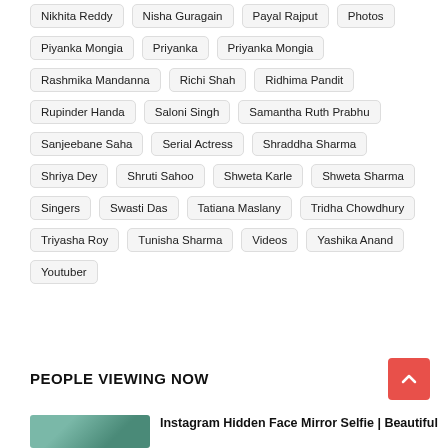Nikhita Reddy
Nisha Guragain
Payal Rajput
Photos
Piyanka Mongia
Priyanka
Priyanka Mongia
Rashmika Mandanna
Richi Shah
Ridhima Pandit
Rupinder Handa
Saloni Singh
Samantha Ruth Prabhu
Sanjeebane Saha
Serial Actress
Shraddha Sharma
Shriya Dey
Shruti Sahoo
Shweta Karle
Shweta Sharma
Singers
Swasti Das
Tatiana Maslany
Tridha Chowdhury
Triyasha Roy
Tunisha Sharma
Videos
Yashika Anand
Youtuber
PEOPLE VIEWING NOW
[Figure (photo): Thumbnail image for Instagram Hidden Face Mirror Selfie article]
Instagram Hidden Face Mirror Selfie | Beautiful